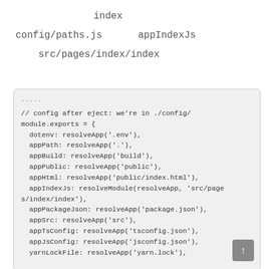index
config/paths.js                appIndexJs
src/pages/index/index
[Figure (screenshot): Code block showing JavaScript module.exports configuration object from config/paths.js after eject, with properties: dotenv, appPath, appBuild, appPublic, appHtml, appIndexJs (resolveModule), appPackageJson, appSrc, appTsConfig, appJsConfig, yarnLockFile]